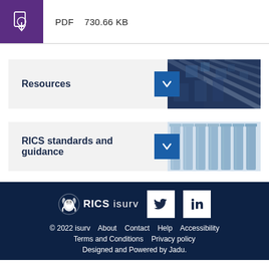PDF    730.66 KB
Resources
RICS standards and guidance
© 2022 isurv   About   Contact   Help   Accessibility   Terms and Conditions   Privacy policy   Designed and Powered by Jadu.